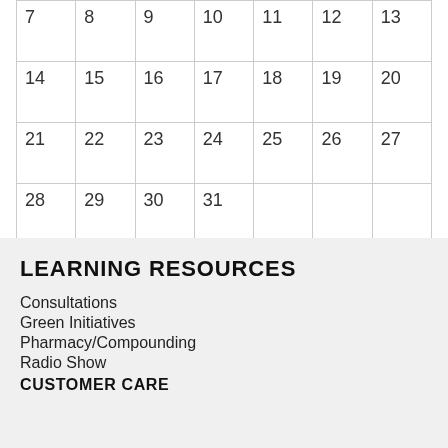| 7 | 8 | 9 | 10 | 11 | 12 | 13 |
| 14 | 15 | 16 | 17 | 18 | 19 | 20 |
| 21 | 22 | 23 | 24 | 25 | 26 | 27 |
| 28 | 29 | 30 | 31 |  |  |  |
« Feb
LEARNING RESOURCES
Consultations
Green Initiatives
Pharmacy/Compounding
Radio Show